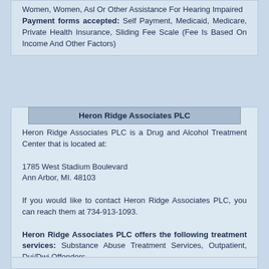Women, Women, Asl Or Other Assistance For Hearing Impaired
Payment forms accepted: Self Payment, Medicaid, Medicare, Private Health Insurance, Sliding Fee Scale (Fee Is Based On Income And Other Factors)
Heron Ridge Associates PLC
Heron Ridge Associates PLC is a Drug and Alcohol Treatment Center that is located at:

1785 West Stadium Boulevard
Ann Arbor, MI. 48103

If you would like to contact Heron Ridge Associates PLC, you can reach them at 734-913-1093.

Heron Ridge Associates PLC offers the following treatment services: Substance Abuse Treatment Services, Outpatient, Dui/Dwi Offenders
Payment forms accepted: Self Payment, Medicare, Private Health Insurance, Military Insurance (E.G., Va, Tricare), Sliding Fee Scale (Fee Is Based On Income And Other Factors)